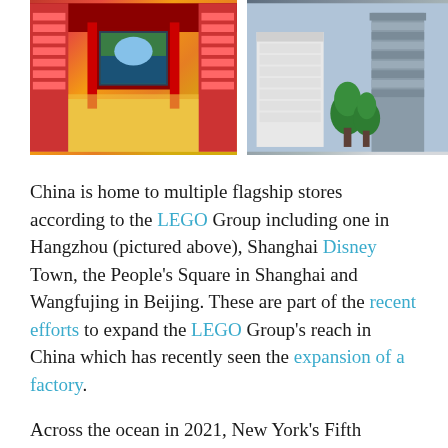[Figure (photo): Interior of a LEGO flagship store in Hangzhou, China, with red Chinese-themed decor, shelves of LEGO sets, and a decorative digital display in the center]
[Figure (photo): LEGO brick models of Chinese architecture including a pagoda tower and traditional buildings with trees, displayed in a store]
China is home to multiple flagship stores according to the LEGO Group including one in Hangzhou (pictured above), Shanghai Disney Town, the People's Square in Shanghai and Wangfujing in Beijing. These are part of the recent efforts to expand the LEGO Group's reach in China which has recently seen the expansion of a factory.
Across the ocean in 2021, New York's Fifth Avenue location was the first store to feature the new concept and included models based on Marvel, Ghostbusters and the New York skyline. On top of the builds, the LEGO store also features interactive